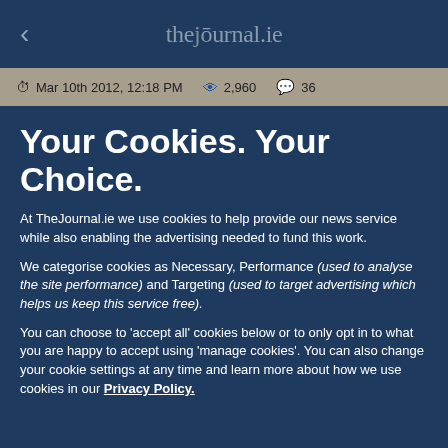thejournal.ie
Mar 10th 2012, 12:18 PM   2,960   36
Your Cookies. Your Choice.
At TheJournal.ie we use cookies to help provide our news service while also enabling the advertising needed to fund this work.
We categorise cookies as Necessary, Performance (used to analyse the site performance) and Targeting (used to target advertising which helps us keep this service free).
You can choose to 'accept all' cookies below or to only opt in to what you are happy to accept using 'manage cookies'. You can also change your cookie settings at any time and learn more about how we use cookies in our Privacy Policy.